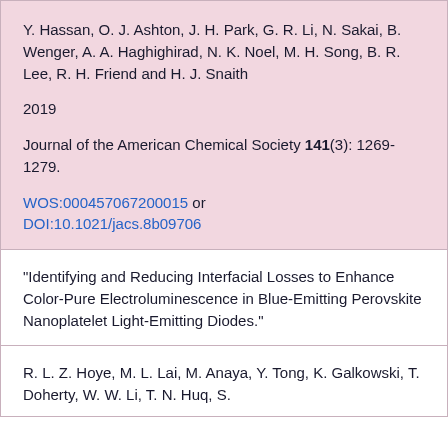Y. Hassan, O. J. Ashton, J. H. Park, G. R. Li, N. Sakai, B. Wenger, A. A. Haghighirad, N. K. Noel, M. H. Song, B. R. Lee, R. H. Friend and H. J. Snaith
2019
Journal of the American Chemical Society 141(3): 1269-1279.
WOS:000457067200015 or DOI:10.1021/jacs.8b09706
"Identifying and Reducing Interfacial Losses to Enhance Color-Pure Electroluminescence in Blue-Emitting Perovskite Nanoplatelet Light-Emitting Diodes."
R. L. Z. Hoye, M. L. Lai, M. Anaya, Y. Tong, K. Galkowski, T. Doherty, W. W. Li, T. N. Huq, S.